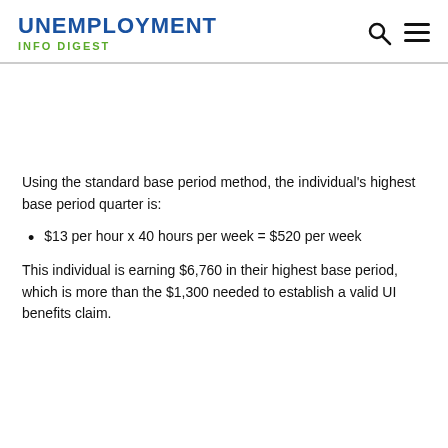UNEMPLOYMENT
INFO DIGEST
Using the standard base period method, the individual's highest base period quarter is:
$13 per hour x 40 hours per week = $520 per week
This individual is earning $6,760 in their highest base period, which is more than the $1,300 needed to establish a valid UI benefits claim.